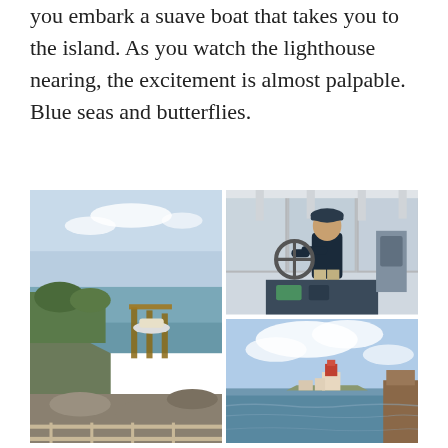you embark a suave boat that takes you to the island. As you watch the lighthouse nearing, the excitement is almost palpable. Blue seas and butterflies.
[Figure (photo): Left tall photo: rocky coastal scene with a dock/pier and a small boat in calm water, rocky shoreline with green vegetation, blue sky.]
[Figure (photo): Top right photo: close-up of a man at the helm/steering wheel of a motorboat, wearing a dark shirt and cap, boat cabin with clear windshield panels visible.]
[Figure (photo): Bottom right photo: view from a boat toward a distant island with a lighthouse and buildings, blue sky with clouds, calm sea water.]